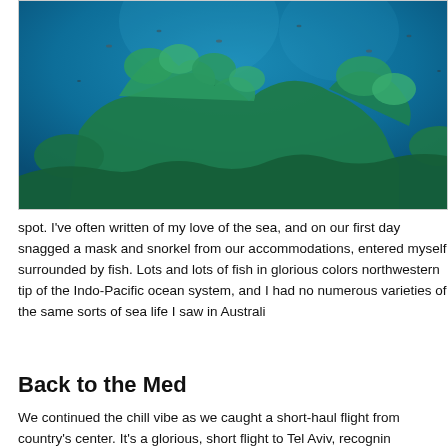[Figure (photo): Underwater photograph showing a coral reef with green and teal coral formations against a deep blue ocean background. Small fish are visible in the water.]
spot. I've often written of my love of the sea, and on our first day snagged a mask and snorkel from our accommodations, entered myself surrounded by fish. Lots and lots of fish in glorious colors northwestern tip of the Indo-Pacific ocean system, and I had no numerous varieties of the same sorts of sea life I saw in Australi
Back to the Med
We continued the chill vibe as we caught a short-haul flight from country's center. It's a glorious, short flight to Tel Aviv, recognin